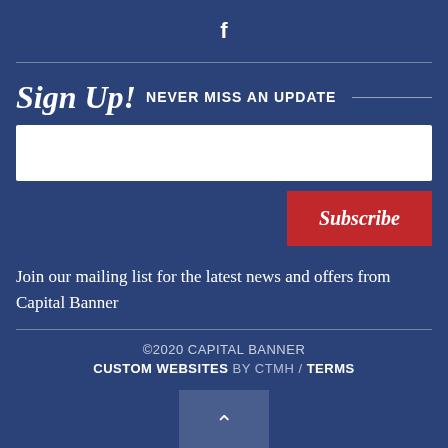[Figure (logo): Facebook icon 'f' centered at top]
Sign Up! NEVER MISS AN UPDATE
[Figure (other): Email input field (white rectangle)]
[Figure (other): Subscribe button (red)]
Join our mailing list for the latest news and offers from Capital Banner
©2020 CAPITAL BANNER
CUSTOM WEBSITES BY CTMH / TERMS